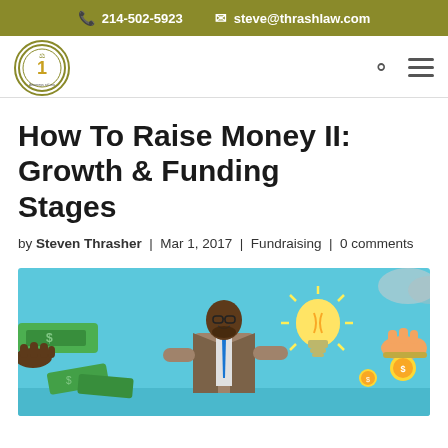📞 214-502-5923  ✉ steve@thrashlaw.com
[Figure (logo): Thrasher Law firm circular logo with scales and number 1]
How To Raise Money II: Growth & Funding Stages
by Steven Thrasher | Mar 1, 2017 | Fundraising | 0 comments
[Figure (illustration): Illustration of a businessman with glasses and beard in a suit, surrounded by hands exchanging money, a glowing light bulb, and a coin — representing fundraising and growth funding concepts. Light blue background.]